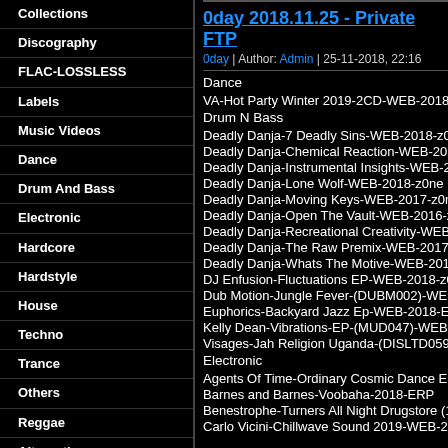Collections
Discography
FLAC-LOSSLESS
Labels
Music Videos
Dance
Drum And Bass
Electronic
Hardcore
Hardstyle
House
Techno
Trance
Others
Reggae
Alternative
Ambient
Blues
Classical
Country
0day 2018.11.25 - Private FTP
0day | Author: Admin | 25-11-2018, 22:16
Dance
VA-Hot Party Winter 2019-2CD-WEB-2018-NO...
Drum N Bass
Deadly Danja-7 Deadly Sins-WEB-2018-z0ne
Deadly Danja-Chemical Reaction-WEB-2018-z0...
Deadly Danja-Instrumental Insights-WEB-2016-z...
Deadly Danja-Lone Wolf-WEB-2018-z0ne
Deadly Danja-Moving Keys-WEB-2017-z0ne
Deadly Danja-Open The Vault-WEB-2016-z0ne
Deadly Danja-Recreational Creativity-WEB-2017...
Deadly Danja-The Raw Premix-WEB-2017-z0ne
Deadly Danja-Whats The Motive-WEB-2018-z0n...
DJ Enfusion-Fluctuations EP-WEB-2018-z0ne
Dub Motion-Jungle Fever-(DUBM002)-WEB-20...
Euphorics-Backyard Jazz Ep-WEB-2018-ENRA...
Kelly Dean-Vibrations-EP-(MUD047)-WEB-201...
Visages-Jah Religion Uganda-(DISLTD059)-WE...
Electronic
Agents Of Time-Ordinary Cosmic Dance EP-(OE...
Barnes and Barnes-Voobaha-2018-ERP
Benestrophe-Turners All Night Drugstore (1987-...
Carlo Vicini-Chillwave Sound 2019-WEB-2018-...